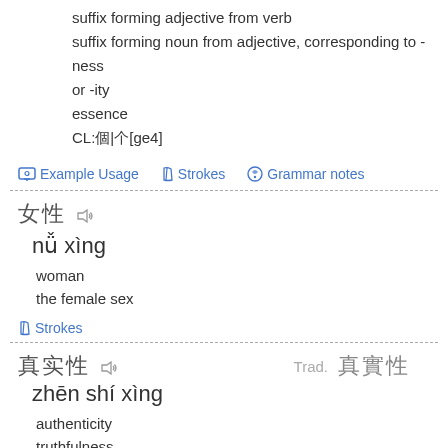suffix forming adjective from verb
suffix forming noun from adjective, corresponding to -ness or -ity
essence
CL:個|个[ge4]
Example Usage   Strokes   Grammar notes
女性  nǚ xìng
woman
the female sex
Strokes
真实性  Trad. 真實性  zhēn shí xìng
authenticity
truthfulness
veracity